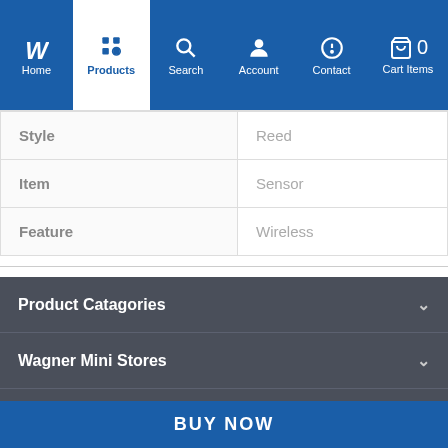Navigation bar: Home, Products (active), Search, Account, Contact, Cart Items (0)
| Attribute | Value |
| --- | --- |
| Style | Reed |
| Item | Sensor |
| Feature | Wireless |
Product Catagories
Wagner Mini Stores
MyAccount
Wagner Info
BUY NOW